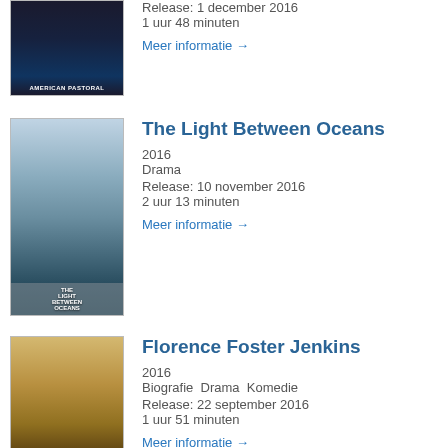[Figure (photo): Movie poster for American Pastoral (partial, top of page)]
Release: 1 december 2016
1 uur 48 minuten
Meer informatie →
The Light Between Oceans
[Figure (photo): Movie poster for The Light Between Oceans showing two people]
2016
Drama
Release: 10 november 2016
2 uur 13 minuten
Meer informatie →
Florence Foster Jenkins
[Figure (photo): Movie poster for Florence Foster Jenkins with Meryl Streep and Hugh Grant]
2016
Biografie  Drama  Komedie
Release: 22 september 2016
1 uur 51 minuten
Meer informatie →